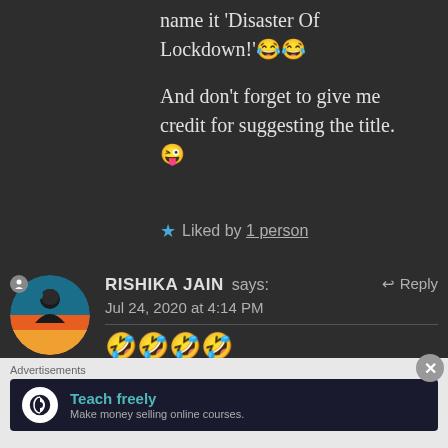name it ‘Disaster Of Lockdown!’😂😂
And don’t forget to give me credit for suggesting the title. 😜
★ Liked by 1 person
RISHIKA JAIN says:  ← Reply
Jul 24, 2020 at 4:14 PM
🤣🤣🤣🤣
Advertisements
Teach freely
Make money selling online courses.